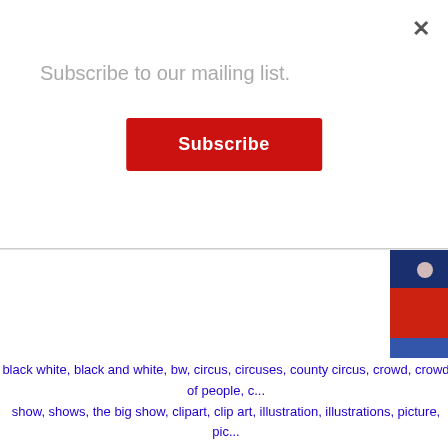×
Subscribe to our mailing list.
Subscribe
[Figure (illustration): Partial view of circus performer clipart images showing colorful costumes in red, blue, and white]
black white, black and white, bw, circus, circuses, county circus, crowd, crowd of people, c... show, shows, the big show, clipart, clip art, illustration, illustrations, picture, pic...